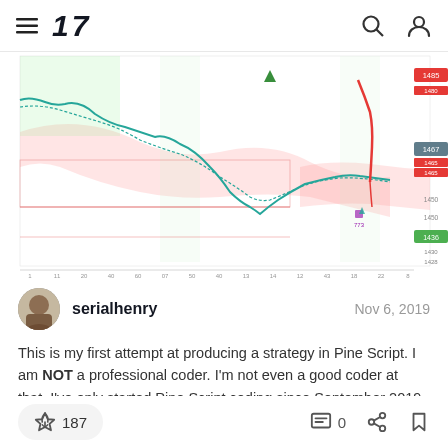TradingView navigation bar with hamburger menu, logo '17', search icon, and user icon
[Figure (screenshot): A TradingView price chart showing candlestick/line data with overlays including a red bearish move, teal/cyan moving average lines, pink shaded area (Ichimoku cloud or similar), green and red indicator labels on the right axis, horizontal support lines, and a time axis along the bottom.]
serialhenry    Nov 6, 2019
This is my first attempt at producing a strategy in Pine Script. I am NOT a professional coder. I'm not even a good coder at that. I've only started Pine Script coding since September 2019. I am teaching myself. This script is far from finished. …
187    0